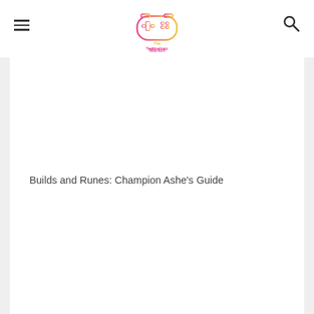The Technology Market
Builds and Runes: Champion Ashe's Guide